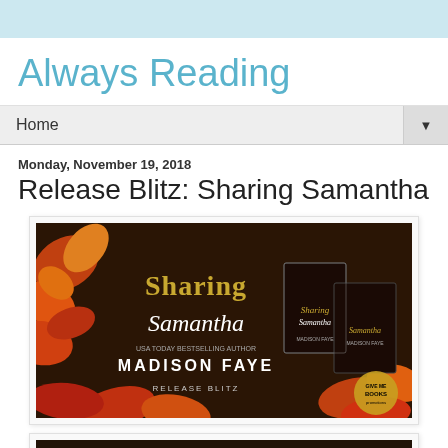Always Reading
Always Reading
Home
Monday, November 19, 2018
Release Blitz: Sharing Samantha
[Figure (illustration): Release blitz promotional banner for 'Sharing Samantha' by Madison Faye, featuring autumn leaves on a dark background with book covers on the right and text 'RELEASE BLITZ']
[Figure (photo): Partial view of a second promotional image at the bottom of the page, dark themed]